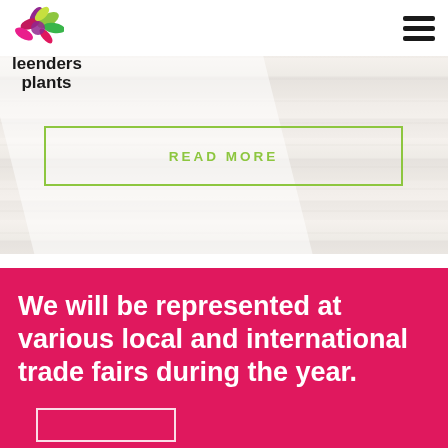[Figure (logo): Leenders Plants logo with colorful flower/leaf icon above the text 'leenders plants']
[Figure (screenshot): Hamburger menu icon (three horizontal bars) in top right corner]
[Figure (photo): Hero banner with whitewashed wood plank background texture and diagonal white overlay]
READ MORE
We will be represented at various local and international trade fairs during the year.